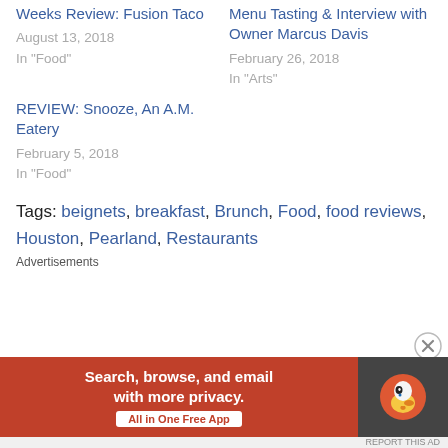Weeks Review: Fusion Taco
August 13, 2018
In "Food"
Menu Tasting & Interview with Owner Marcus Davis
February 26, 2018
In "Arts"
REVIEW: Snooze, An A.M. Eatery
February 5, 2018
In "Food"
Tags: beignets, breakfast, Brunch, Food, food reviews, Houston, Pearland, Restaurants
Advertisements
[Figure (infographic): DuckDuckGo advertisement banner: 'Search, browse, and email with more privacy. All in One Free App' with DuckDuckGo duck logo on dark background]